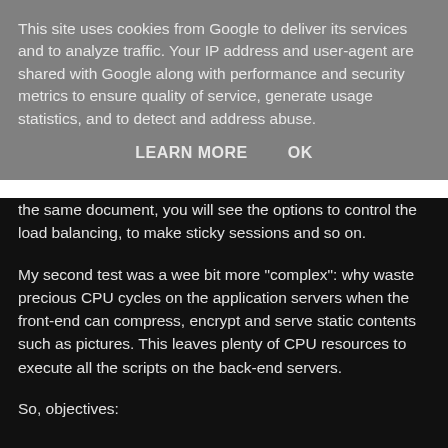This site uses cookies from Google to deliver its services and to analyze traffic. Your IP address and user-agent are shared with Google along with performance and security metrics to ensure quality of service, generate usage statistics, and to detect and address abuse.
LEARN MORE    OK
the same document, you will see the options to control the load balancing, to make sticky sessions and so on.
My second test was a wee bit more "complex": why waste precious CPU cycles on the application servers when the front-end can compress, encrypt and serve static contents such as pictures. This leaves plenty of CPU resources to execute all the scripts on the back-end servers.
So, objectives:
1. The front-end compresses and encrypts the connection with the client;